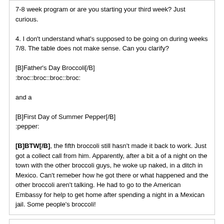7-8 week program or are you starting your third week? Just curious.

4. I don't understand what's supposed to be going on during weeks 7/8. The table does not make sense. Can you clarify?

[B]Father's Day Broccoli[/B]
:broc::broc::broc::broc:

and a

[B]First Day of Summer Pepper[/B]
:pepper:

[B]BTW[/B], the fifth broccoli still hasn't made it back to work. Just got a collect call from him. Apparently, after a bit a of a night on the town with the other broccoli guys, he woke up naked, in a ditch in Mexico. Can't remeber how he got there or what happened and the other broccoli aren't talking. He had to go to the American Embassy for help to get home after spending a night in a Mexican jail. Some people's broccoli!
John Burch
06-21-2009 05:29 PM
Re: Over 50 Crossfitters Sign In
Thanks Scott The wod's are not of my making they come from the Chesterton
affiliate. I wanted to try the pullup wod from the main site today but I know after the first round that I would need to be timed with a sun dial